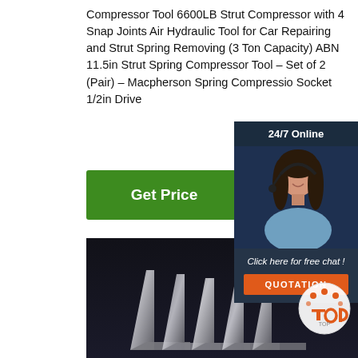Compressor Tool 6600LB Strut Compressor with 4 Snap Joints Air Hydraulic Tool for Car Repairing and Strut Spring Removing (3 Ton Capacity) ABN 11.5in Strut Spring Compressor Tool – Set of 2 (Pair) – Macpherson Spring Compression Socket 1/2in Drive
[Figure (other): Green 'Get Price' button]
[Figure (other): 24/7 Online chat widget with female agent wearing headset, 'Click here for free chat!' text, and orange QUOTATION button]
[Figure (photo): Product photo showing metallic L-shaped angle iron brackets arranged in a row on dark background]
[Figure (logo): TOP badge logo in bottom right corner with orange dots]